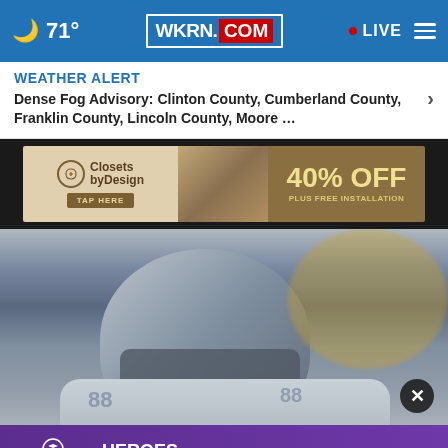71° WKRN.COM LIVE
WEATHER ALERT
Dense Fog Advisory: Clinton County, Cumberland County, Franklin County, Lincoln County, Moore …
[Figure (photo): Closets by Design advertisement: 40% OFF plus free installation]
[Figure (photo): Football player wearing grey helmet and uniform, close-up shot]
[Figure (photo): Trevecca Nazarene University advertisement: HEROES TRAIN HERE. Prepare to succeed through service with a master's in public administration!]